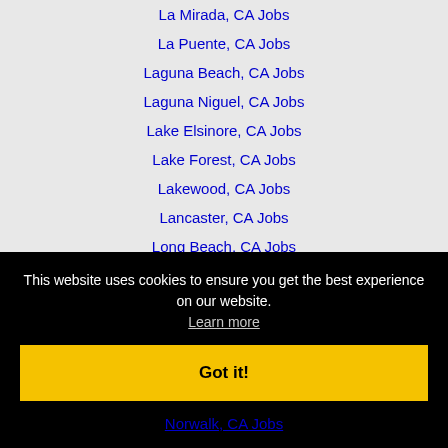La Mirada, CA Jobs
La Puente, CA Jobs
Laguna Beach, CA Jobs
Laguna Niguel, CA Jobs
Lake Elsinore, CA Jobs
Lake Forest, CA Jobs
Lakewood, CA Jobs
Lancaster, CA Jobs
Long Beach, CA Jobs
Los Angeles, CA Jobs
This website uses cookies to ensure you get the best experience on our website.
Learn more
Got it!
Norwalk, CA Jobs